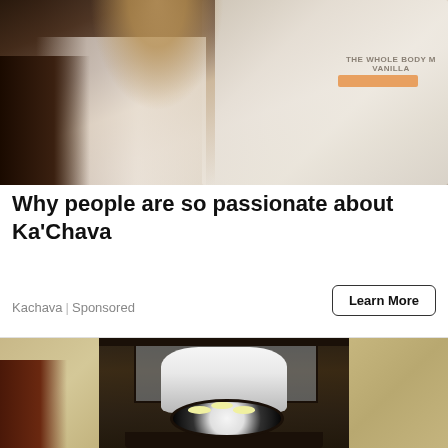[Figure (photo): Photo of a tattooed woman in a white top holding a bag labeled 'THE WHOLE BODY MEAL' (Ka'Chava product bag)]
Why people are so passionate about Ka'Chava
Kachava | Sponsored
Learn More
[Figure (photo): Photo of a security camera shaped like a light bulb installed in a black outdoor lantern-style wall fixture, mounted on a textured beige stucco wall]